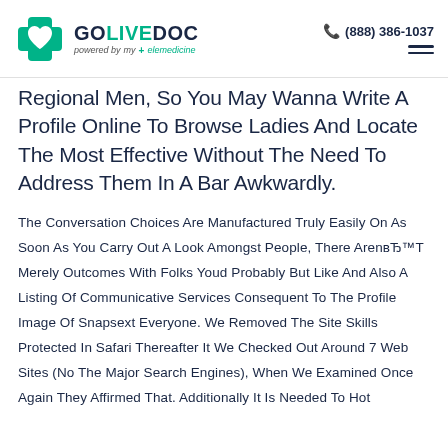GO LIVE DOC — powered by my + elemedicine | (888) 386-1037
Regional Men, So You May Wanna Write A Profile Online To Browse Ladies And Locate The Most Effective Without The Need To Address Them In A Bar Awkwardly.
The Conversation Choices Are Manufactured Truly Easily On As Soon As You Carry Out A Look Amongst People, There ArenвЂ™T Merely Outcomes With Folks Youd Probably But Like And Also A Listing Of Communicative Services Consequent To The Profile Image Of Snapsext Everyone. We Removed The Site Skills Protected In Safari Thereafter It We Checked Out Around 7 Web Sites (No The Major Search Engines), When We Examined Once Again They Affirmed That. Additionally It Is Needed To Hot